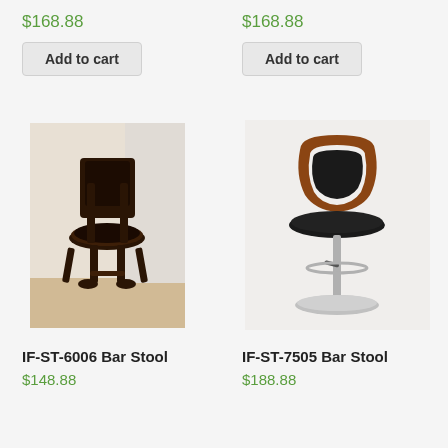$168.88
Add to cart
[Figure (photo): Dark wood bar stool with black upholstered seat and back, on hardwood floor.]
IF-ST-6006 Bar Stool
$148.88
$168.88
Add to cart
[Figure (photo): Modern bar stool with wood and black leather seat/back, chrome pedestal base.]
IF-ST-7505 Bar Stool
$188.88